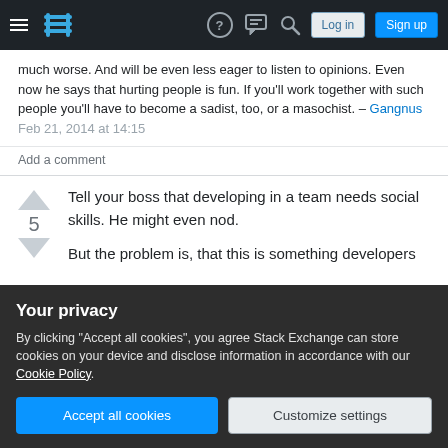Stack Exchange navigation bar with hamburger menu, logo, help, chat, search, Log in, Sign up buttons
much worse. And will be even less eager to listen to opinions. Even now he says that hurting people is fun. If you'll work together with such people you'll have to become a sadist, too, or a masochist. – Gangnus Feb 21, 2014 at 14:15
Add a comment
Tell your boss that developing in a team needs social skills. He might even nod.

But the problem is, that this is something developers
Your privacy
By clicking "Accept all cookies", you agree Stack Exchange can store cookies on your device and disclose information in accordance with our Cookie Policy.
Accept all cookies   Customize settings
should support that. For example, coin it positively.